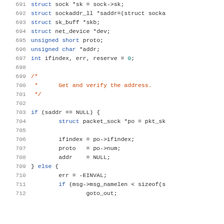[Figure (screenshot): Source code listing showing C code lines 691-712 with syntax highlighting. Line numbers in gray on left, keywords in blue, comment text in red/orange, variable values in teal, other code in dark/black.]